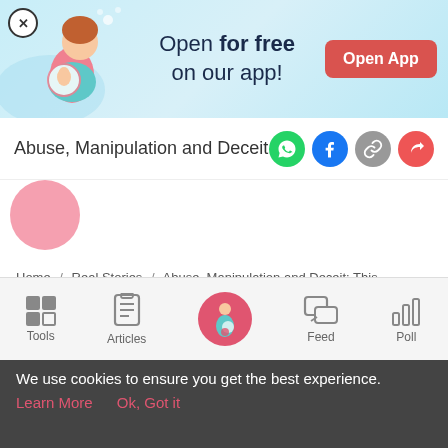[Figure (infographic): App promotion banner with illustrated pregnant woman, teal background, 'Open for free on our app!' text and red 'Open App' button]
Abuse, Manipulation and Deceit: This Singapore Mum Bares All
[Figure (illustration): Pink circle partially visible, likely article hero image]
Home / Real Stories / Abuse, Manipulation and Deceit: This Singapore Mum Bares All
abuse
cheating husband
emotional abuse
cheating husband in Singapore
mental abuse
[Figure (infographic): Bottom navigation bar with Tools, Articles, center pregnant woman icon, Feed, and Poll icons]
We use cookies to ensure you get the best experience.
Learn More   Ok, Got it